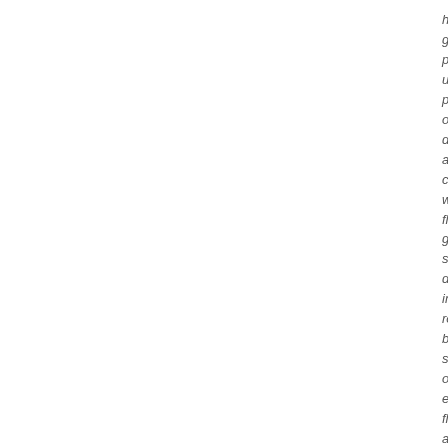ha
ge
pic
up
pie
of
do
an
co
wit
flo
ge
sho
do
int
ro
ba
sho
off
exc
flo
an
pla
in
pre
ca
pa
Pa